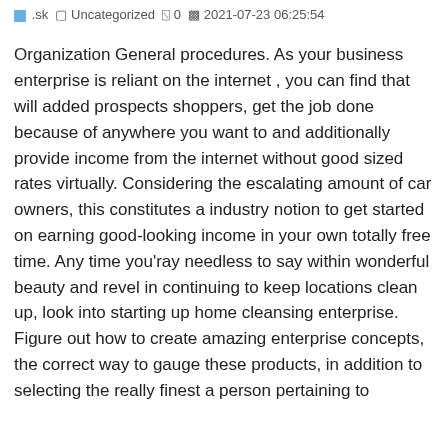🔵 .sk  Uncategorized  💬 0  📅 2021-07-23 06:25:54
Organization General procedures. As your business enterprise is reliant on the internet , you can find that will added prospects shoppers, get the job done because of anywhere you want to and additionally provide income from the internet without good sized rates virtually. Considering the escalating amount of car owners, this constitutes a industry notion to get started on earning good-looking income in your own totally free time. Any time you'ray needless to say within wonderful beauty and revel in continuing to keep locations clean up, look into starting up home cleansing enterprise. Figure out how to create amazing enterprise concepts, the correct way to gauge these products, in addition to selecting the really finest a person pertaining to